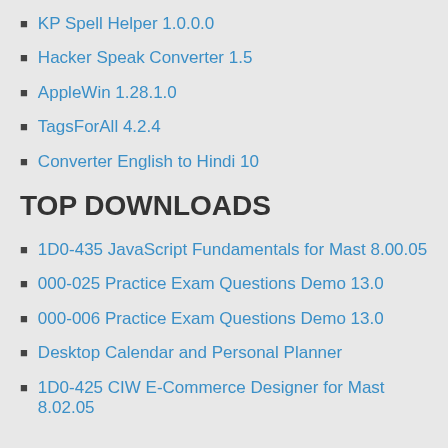KP Spell Helper 1.0.0.0
Hacker Speak Converter 1.5
AppleWin 1.28.1.0
TagsForAll 4.2.4
Converter English to Hindi 10
TOP DOWNLOADS
1D0-435 JavaScript Fundamentals for Mast 8.00.05
000-025 Practice Exam Questions Demo 13.0
000-006 Practice Exam Questions Demo 13.0
Desktop Calendar and Personal Planner
1D0-425 CIW E-Commerce Designer for Mast 8.02.05